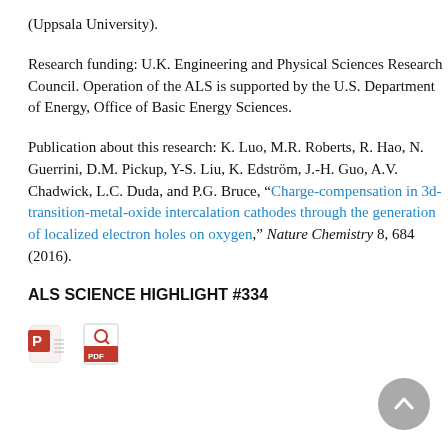(Uppsala University).
Research funding: U.K. Engineering and Physical Sciences Research Council. Operation of the ALS is supported by the U.S. Department of Energy, Office of Basic Energy Sciences.
Publication about this research: K. Luo, M.R. Roberts, R. Hao, N. Guerrini, D.M. Pickup, Y-S. Liu, K. Edström, J.-H. Guo, A.V. Chadwick, L.C. Duda, and P.G. Bruce, “Charge-compensation in 3d-transition-metal-oxide intercalation cathodes through the generation of localized electron holes on oxygen,” Nature Chemistry 8, 684 (2016).
ALS SCIENCE HIGHLIGHT #334
[Figure (other): PowerPoint and PDF download icons]